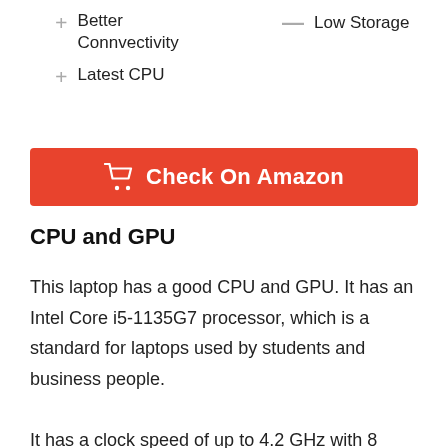+ Better Connvectivity
- Low Storage
+ Latest CPU
[Figure (other): Orange 'Check On Amazon' button with shopping cart icon]
CPU and GPU
This laptop has a good CPU and GPU. It has an Intel Core i5-1135G7 processor, which is a standard for laptops used by students and business people.

It has a clock speed of up to 4.2 GHz with 8 cores.

It has a graphics processing unit of Intel's Iris Xe, which is good for business and personal use. It can